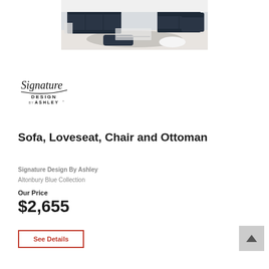[Figure (photo): Photo of a dark navy blue living room set including sofa, loveseat, chair, and ottoman arranged in a bright showroom setting]
[Figure (logo): Signature Design by Ashley logo with cursive 'Signature' text above 'DESIGN BY ASHLEY' in block letters]
Sofa, Loveseat, Chair and Ottoman
Signature Design By Ashley
Altonbury Blue Collection
Our Price
$2,655
See Details